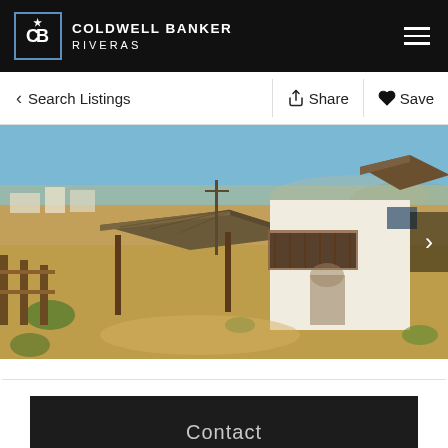COLDWELL BANKER RIVERAS
< Search Listings
Share   Save
[Figure (photo): Aerial drone photo of a two-story white Mexican-style house with a palapa/thatched roof gazebo structure in the foreground, surrounded by desert scrubland. The building has a rooftop palapa, a second-floor balcony with wooden railings, and an arched doorway. Mountains and a small town are visible in the background.]
Contact